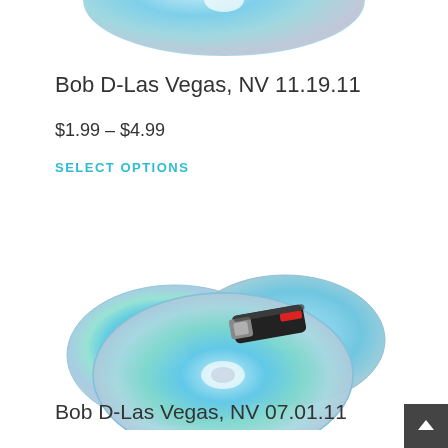[Figure (photo): Partial view of a CD/DVD disc visible at the very top of the page, cropped]
Bob D-Las Vegas, NV 11.19.11
$1.99 – $4.99
SELECT OPTIONS
[Figure (photo): Two shiny blue/teal CDs and a black and red USB flash drive on a white background]
Bob D-Las Vegas, NV 07.01.11